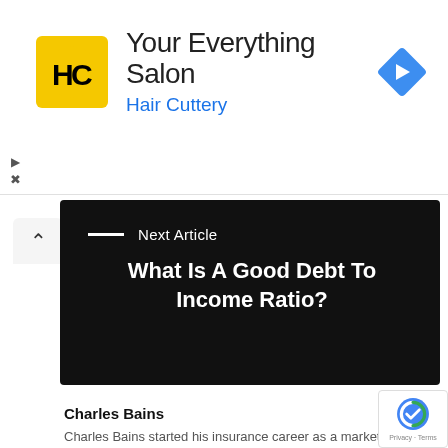[Figure (logo): Hair Cuttery advertisement banner with HC logo in yellow square, text 'Your Everything Salon' and 'Hair Cuttery' in blue, and blue navigation diamond icon]
[Figure (other): Black panel with 'Next Article' label and title 'What Is A Good Debt To Income Ratio?']
Charles Bains
Charles Bains started his insurance career as a marketing intern before pounding the pavement as a commercial lines agent in Orlando, FL. As an industry journalist, his articles have appeared in a variety of trade